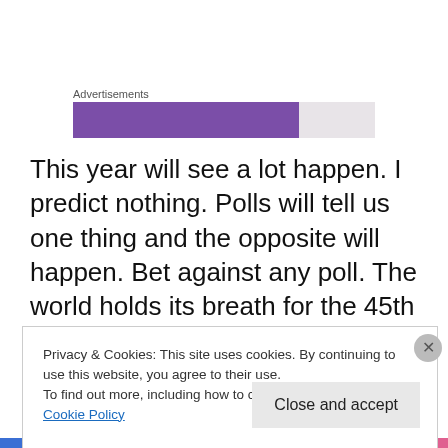Advertisements
[Figure (other): Advertisement banner with purple and gray segments]
This year will see a lot happen. I predict nothing. Polls will tell us one thing and the opposite will happen. Bet against any poll. The world holds its breath for the 45th President of the United States to take office, start doing deals and building walls. As a country we about to divorce the EU and anyone who has been through a divorce (I have two
Privacy & Cookies: This site uses cookies. By continuing to use this website, you agree to their use.
To find out more, including how to control cookies, see here: Cookie Policy
Close and accept